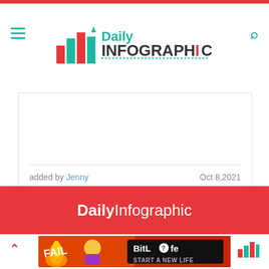Daily Infographic
added by Jenny    Oct 8,2021
Entertainment
[Figure (logo): Daily Infographic red banner with white bold and light text logo]
[Figure (illustration): Advertisement banner with cartoon character, fire, and BitLife game promotional content: START A NEW LIFE]